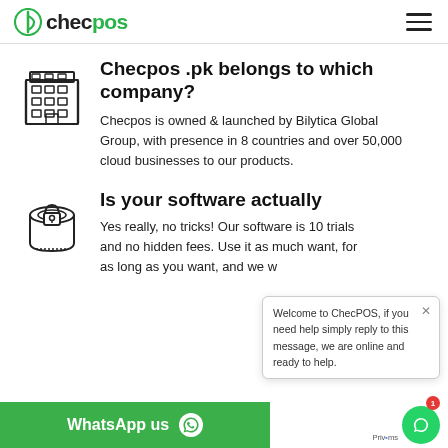checpos
Checpos .pk belongs to which company?
Checpos is owned & launched by Bilytica Global Group, with presence in 8 countries and over 50,000 cloud businesses to our products.
Is your software actually
Yes really, no tricks! Our software is 10 trials and no hidden fees. Use it as much want, for as long as you want, and we w
Welcome to ChecPOS, if you need help simply reply to this message, we are online and ready to help.